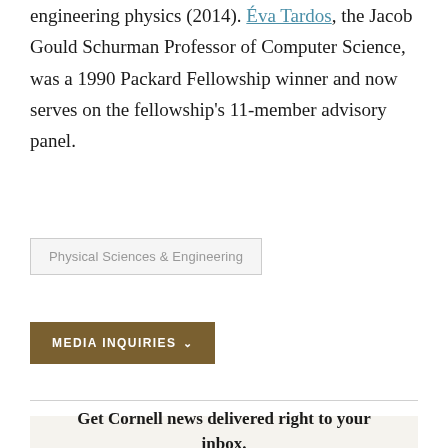engineering physics (2014). Éva Tardos, the Jacob Gould Schurman Professor of Computer Science, was a 1990 Packard Fellowship winner and now serves on the fellowship's 11-member advisory panel.
Physical Sciences & Engineering
MEDIA INQUIRIES
Get Cornell news delivered right to your inbox.